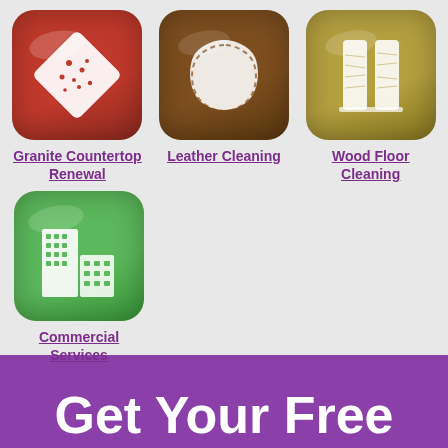[Figure (illustration): Red rounded square icon with white diamond/granite countertop graphic]
Granite Countertop Renewal
[Figure (illustration): Brown rounded square icon with white leather hide graphic with dashed border]
Leather Cleaning
[Figure (illustration): Olive/tan rounded square icon with white wood floor panel graphic]
Wood Floor Cleaning
[Figure (illustration): Green rounded square icon with white commercial building graphic]
Commercial Services
Get Your Free